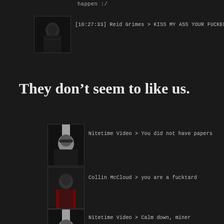happen :/
[Figure (screenshot): Chat entry with dark hooded avatar for Reid Grimes]
[10:27:33] Reid Grimes > KISS MY ASS YOUR FUCKER
They don’t seem to like us.
[Figure (screenshot): Chat entry with Nitetime Video avatar (bright backlit figure with sunglasses)]
Nitetime Video > You did not have papers
[Figure (screenshot): Chat entry with Collin McCloud avatar (figure in red outfit)]
Collin McCloud > you are a fucktard
[Figure (screenshot): Chat entry with Nitetime Video avatar again]
Nitetime Video > Calm down, miner
They don’t seem to like